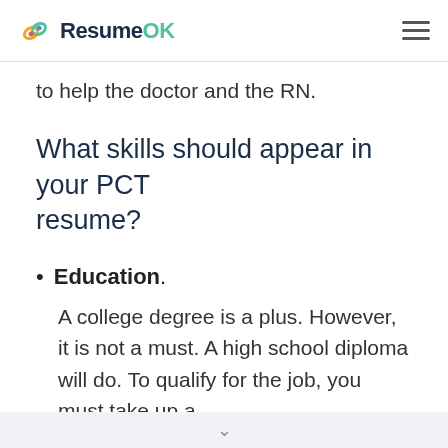ResumeOK
to help the doctor and the RN.
What skills should appear in your PCT resume?
Education. A college degree is a plus. However, it is not a must. A high school diploma will do. To qualify for the job, you must take up a